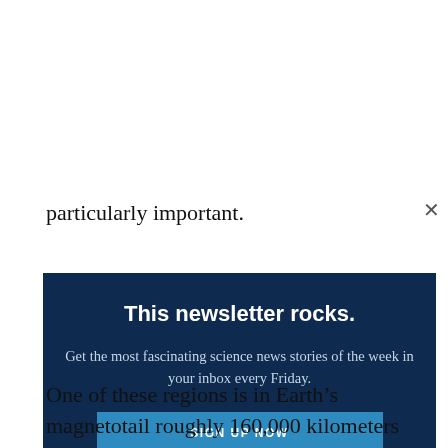particularly important.
[Figure (infographic): Newsletter sign-up promotional box with dark navy background. Title: 'This newsletter rocks.' Body: 'Get the most fascinating science news stories of the week in your inbox every Friday.' Button: 'SIGN UP NOW']
One of these regions is in Earth’s magnetotail roughly 160,000 kilometers above the planet’s